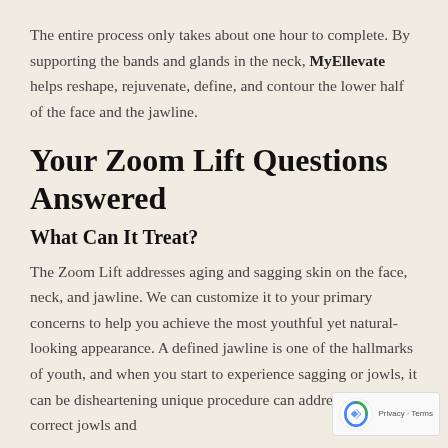The entire process only takes about one hour to complete. By supporting the bands and glands in the neck, MyEllevate helps reshape, rejuvenate, define, and contour the lower half of the face and the jawline.
Your Zoom Lift Questions Answered
What Can It Treat?
The Zoom Lift addresses aging and sagging skin on the face, neck, and jawline. We can customize it to your primary concerns to help you achieve the most youthful yet natural-looking appearance. A defined jawline is one of the hallmarks of youth, and when you start to experience sagging or jowls, it can be disheartening unique procedure can address and correct jowls and